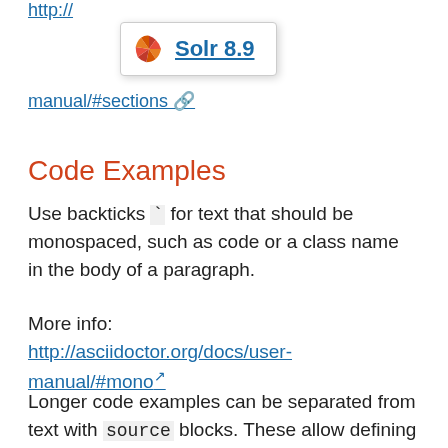More info: http://
[Figure (other): Solr 8.9 tooltip/popup with red sunburst logo and bold underlined text 'Solr 8.9']
manual/#sections (partial link, cut off)
Code Examples
Use backticks ` for text that should be monospaced, such as code or a class name in the body of a paragraph.
More info:
http://asciidoctor.org/docs/user-manual/#mono (external link)
Longer code examples can be separated from text with source blocks. These allow defining the syntax being used so the code is properly highlighted.